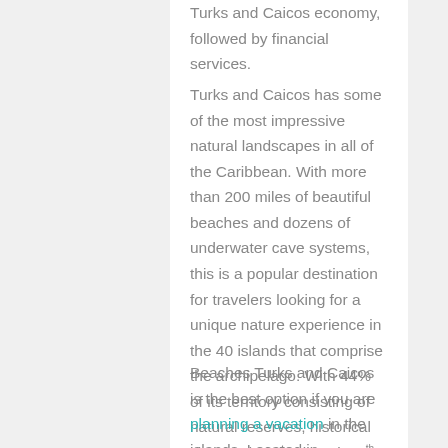Turks and Caicos economy, followed by financial services.
Turks and Caicos has some of the most impressive natural landscapes in all of the Caribbean. With more than 200 miles of beautiful beaches and dozens of underwater cave systems, this is a popular destination for travelers looking for a unique nature experience in the 40 islands that comprise the archipelago. With 44% of its territory consisting of natural reserves, historical sites and parks, it ranks 5th in the world for protected area as a percentage of total mass.
Beaches Turks and Caicos is the best option if you are planning a vacation in the islands. Located in Providenciales,